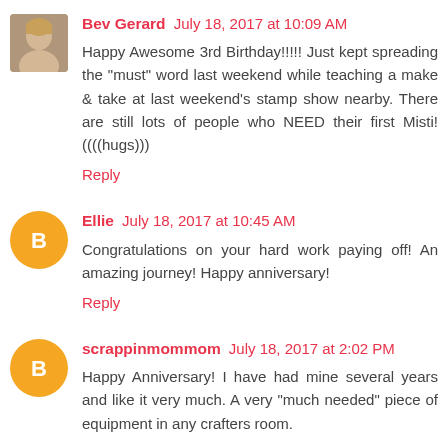Bev Gerard July 18, 2017 at 10:09 AM
Happy Awesome 3rd Birthday!!!!! Just kept spreading the "must" word last weekend while teaching a make & take at last weekend's stamp show nearby. There are still lots of people who NEED their first Misti! ((((hugs)))
Reply
Ellie July 18, 2017 at 10:45 AM
Congratulations on your hard work paying off! An amazing journey! Happy anniversary!
Reply
scrappinmommom July 18, 2017 at 2:02 PM
Happy Anniversary! I have had mine several years and like it very much. A very "much needed" piece of equipment in any crafters room.
Reply